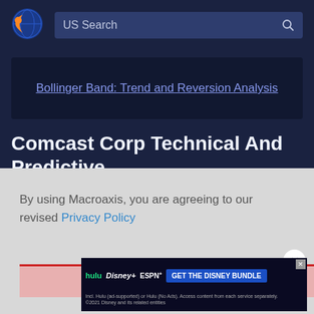[Figure (logo): Macroaxis circular logo with orange and blue globe-like icon]
US Search
Bollinger Band: Trend and Reversion Analysis
Comcast Corp Technical And Predictive Indicators
By using Macroaxis, you are agreeing to our revised Privacy Policy
OK
[Figure (screenshot): Disney Bundle advertisement: Hulu, Disney+, ESPN+ - GET THE DISNEY BUNDLE. Incl. Hulu (ad-supported) or Hulu (No Ads). Access content from each service separately. ©2021 Disney and its related entities]